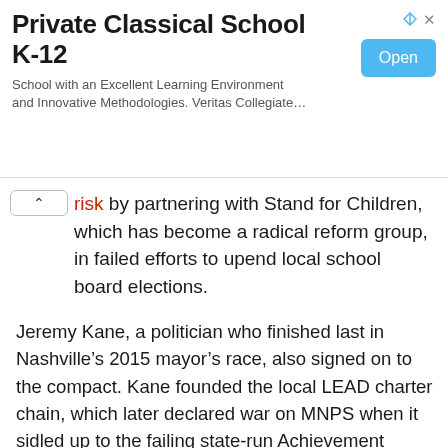[Figure (screenshot): Advertisement banner for Private Classical School K-12 with 'Open' button]
risk by partnering with Stand for Children, which has become a radical reform group, in failed efforts to upend local school board elections.
Jeremy Kane, a politician who finished last in Nashville’s 2015 mayor’s race, also signed on to the compact. Kane founded the local LEAD charter chain, which later declared war on MNPS when it sidled up to the failing state-run Achievement School District, which engineered a hostile state takeover of Nashville’s Neely’s Bend Middle School – a school that already was turning around.